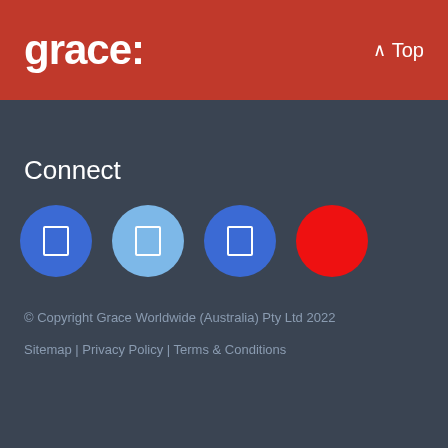grace: ^ Top
Connect
[Figure (illustration): Four social media icon circles: Facebook (blue), Twitter (light blue), LinkedIn (blue), YouTube (red)]
© Copyright Grace Worldwide (Australia) Pty Ltd 2022
Sitemap | Privacy Policy | Terms & Conditions